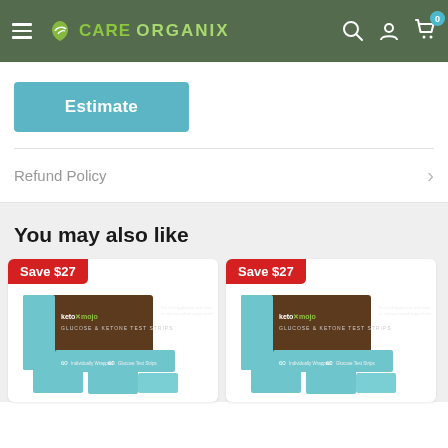Care Organix — navigation header with hamburger menu, logo, search, account, cart (0)
Estimate
Refund Policy
You may also like
[Figure (photo): Keto Mojo Glucose & Ketone Test Strips product box with Save $27 badge]
[Figure (photo): Keto Mojo Glucose & Ketone Test Strips product box with Save $27 badge (second card, partially visible)]